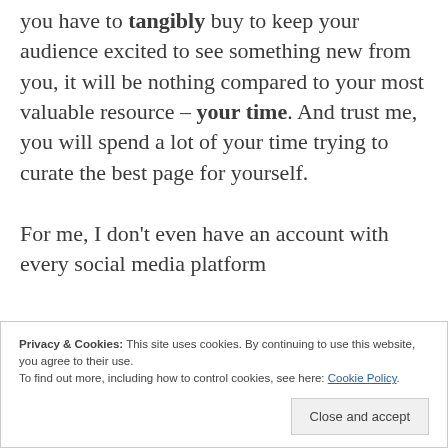you have to tangibly buy to keep your audience excited to see something new from you, it will be nothing compared to your most valuable resource – your time. And trust me, you will spend a lot of your time trying to curate the best page for yourself.

For me, I don't even have an account with every social media platform
Privacy & Cookies: This site uses cookies. By continuing to use this website, you agree to their use.
To find out more, including how to control cookies, see here: Cookie Policy
[Close and accept]